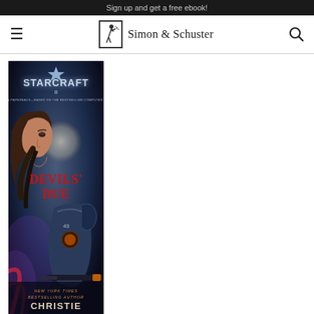Sign up and get a free ebook!
[Figure (logo): Simon & Schuster publisher logo with navigation hamburger menu and search icon]
[Figure (photo): Book cover for StarCraft II: Devils' Due by Christie Golden. Shows a rugged man's face in profile on the left and an armored soldier on the right, with the StarCraft II logo at top and red title text 'Devils' Due' in center. Bottom reads 'New York Times Bestselling Author Christie Golden'.]